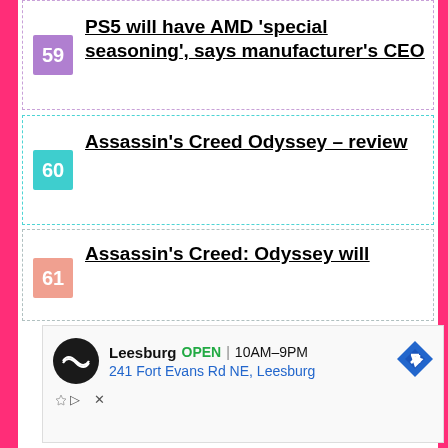Assassin's Creed in 2019
59 PS5 will have AMD 'special seasoning', says manufacturer's CEO
60 Assassin's Creed Odyssey – review
61 Assassin's Creed: Odyssey will
[Figure (other): Advertisement for a store in Leesburg, showing OPEN 10AM-9PM, address 241 Fort Evans Rd NE, Leesburg, with navigation arrow icon and a circular logo.]